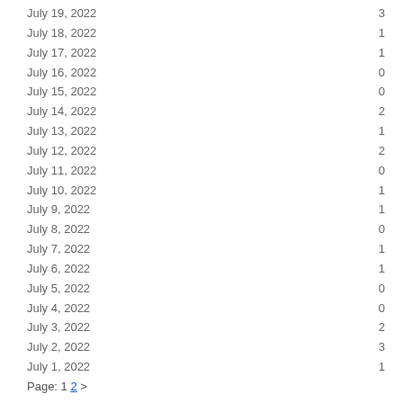| Date | Count |
| --- | --- |
| July 19, 2022 | 3 |
| July 18, 2022 | 1 |
| July 17, 2022 | 1 |
| July 16, 2022 | 0 |
| July 15, 2022 | 0 |
| July 14, 2022 | 2 |
| July 13, 2022 | 1 |
| July 12, 2022 | 2 |
| July 11, 2022 | 0 |
| July 10, 2022 | 1 |
| July 9, 2022 | 1 |
| July 8, 2022 | 0 |
| July 7, 2022 | 1 |
| July 6, 2022 | 1 |
| July 5, 2022 | 0 |
| July 4, 2022 | 0 |
| July 3, 2022 | 2 |
| July 2, 2022 | 3 |
| July 1, 2022 | 1 |
Page: 1 2 >